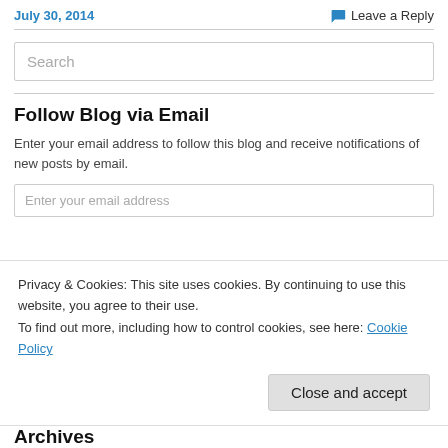July 30, 2014
Leave a Reply
Search
Follow Blog via Email
Enter your email address to follow this blog and receive notifications of new posts by email.
Privacy & Cookies: This site uses cookies. By continuing to use this website, you agree to their use.
To find out more, including how to control cookies, see here: Cookie Policy
Close and accept
Archives